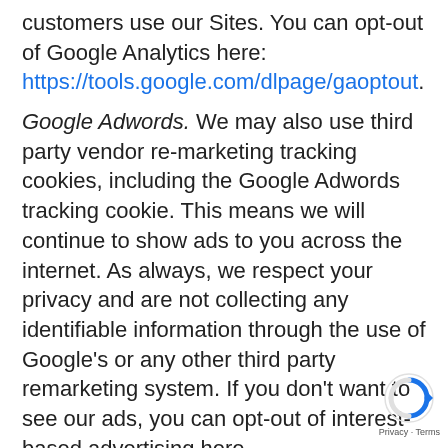customers use our Sites. You can opt-out of Google Analytics here: https://tools.google.com/dlpage/gaoptout.
Google Adwords. We may also use third party vendor re-marketing tracking cookies, including the Google Adwords tracking cookie. This means we will continue to show ads to you across the internet. As always, we respect your privacy and are not collecting any identifiable information through the use of Google's or any other third party remarketing system. If you don't want to see our ads, you can opt-out of interest-based advertising here http://optout.networkadvertising.org/.